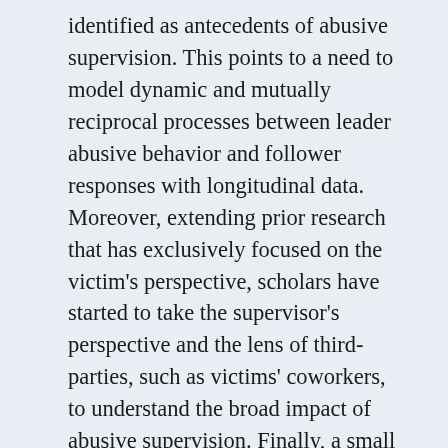identified as antecedents of abusive supervision. This points to a need to model dynamic and mutually reciprocal processes between leader abusive behavior and follower responses with longitudinal data. Moreover, extending prior research that has exclusively focused on the victim's perspective, scholars have started to take the supervisor's perspective and the lens of third-parties, such as victims' coworkers, to understand the broad impact of abusive supervision. Finally, a small number of studies have started to model abusive supervision as a multilevel phenomenon. These studies have examined a group aggregated measure of abusive supervision, examining its influence as an antecedent of individual level outcomes and as